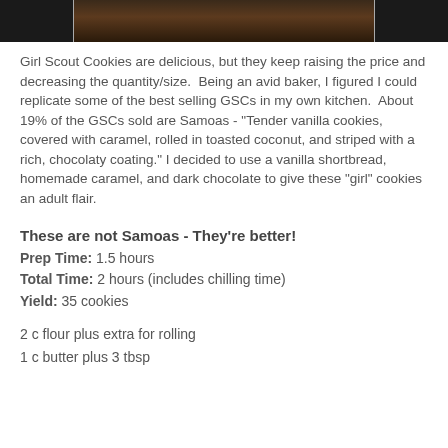[Figure (photo): Photo of cookies on a plate, partially visible at top of page]
Girl Scout Cookies are delicious, but they keep raising the price and decreasing the quantity/size.  Being an avid baker, I figured I could replicate some of the best selling GSCs in my own kitchen.  About 19% of the GSCs sold are Samoas - "Tender vanilla cookies, covered with caramel, rolled in toasted coconut, and striped with a rich, chocolaty coating." I decided to use a vanilla shortbread, homemade caramel, and dark chocolate to give these "girl" cookies an adult flair.
These are not Samoas - They're better!
Prep Time: 1.5 hours
Total Time: 2 hours (includes chilling time)
Yield: 35 cookies
2 c flour plus extra for rolling
1 c butter plus 3 tbsp